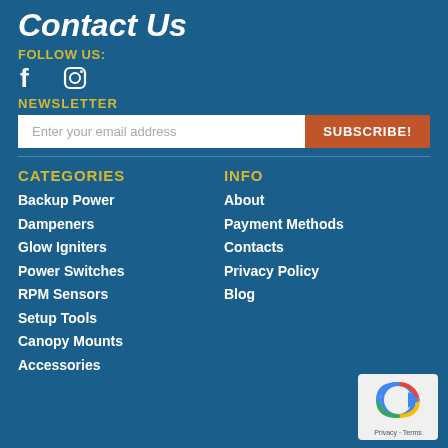Contact Us
FOLLOW US:
[Figure (other): Facebook and Instagram social media icons in white]
NEWSLETTER
[Figure (other): Email newsletter subscription form with input field 'Enter your email address' and orange SUBSCRIBE! button]
CATEGORIES
Backup Power
Dampeners
Glow Igniters
Power Switches
RPM Sensors
Setup Tools
Canopy Mounts
Accessories
INFO
About
Payment Methods
Contacts
Privacy Policy
Blog
[Figure (other): reCAPTCHA logo badge with Privacy and Terms text]